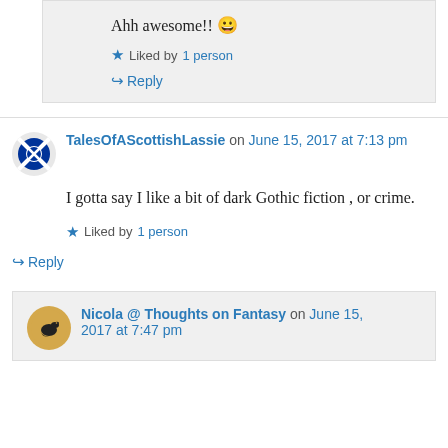Ahh awesome!! 😀
Liked by 1 person
↳ Reply
TalesOfAScottishLassie on June 15, 2017 at 7:13 pm
I gotta say I like a bit of dark Gothic fiction , or crime.
Liked by 1 person
↳ Reply
Nicola @ Thoughts on Fantasy on June 15, 2017 at 7:47 pm